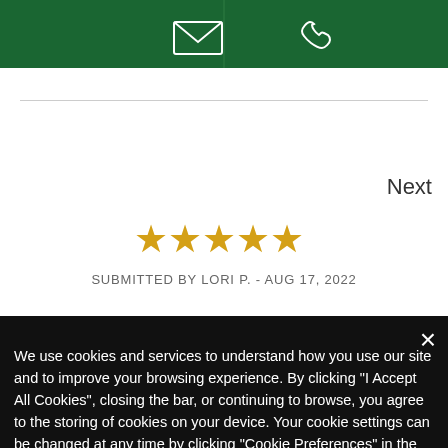[Figure (screenshot): Green header bar with envelope/email icon on left and phone icon on right, split into two equal sections]
Next
[Figure (other): Five gold stars rating]
SUBMITTED BY LORI P. - AUG 17, 2022
We use cookies and services to understand how you use our site and to improve your browsing experience. By clicking "I Accept All Cookies", closing the bar, or continuing to browse, you agree to the storing of cookies on your device. Your cookie settings can be changed at any time by clicking "Cookie Preferences" in the footer of this site. To find out more, please view our Privacy Policy
Cookie Preferences
I Accept All Cookies